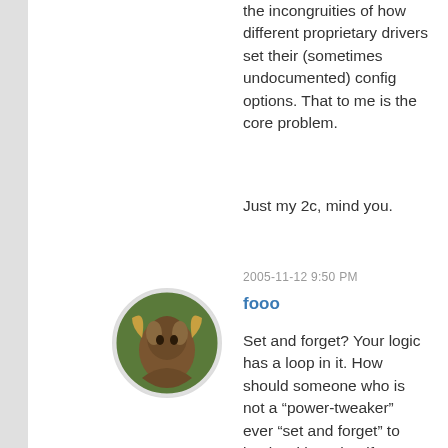the incongruities of how different proprietary drivers set their (sometimes undocumented) config options. That to me is the core problem.
Just my 2c, mind you.
2005-11-12 9:50 PM
fooo
[Figure (photo): Circular avatar image of a bird or small animal on a branch, brown/green tones]
Set and forget? Your logic has a loop in it. How should someone who is not a “power-tweaker” ever “set and forget” to begin with? What if I upgrade my video card? What if I want to use the nvidia